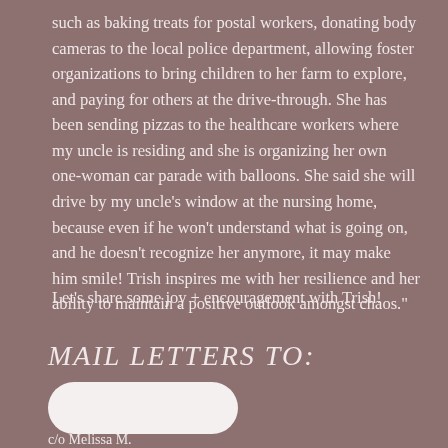such as baking treats for postal workers, donating body cameras to the local police department, allowing foster organizations to bring children to her farm to explore, and paying for others at the drive-through. She has been sending pizzas to the healthcare workers where my uncle is residing and she is organizing her own one-woman car parade with balloons. She said she will drive by my uncle's window at the nursing home, because even if he won't understand what is going on, and he doesn't recognize her anymore, it may make him smile! Trish inspires me with her resilience and her ability to maintain a positive outlook amongst chaos."
Let's share some joy + encouragement with Trish!
MAIL LETTERS TO:
[Figure (other): Redacted white rounded rectangle covering address]
c/o Melissa M.
PO BOX